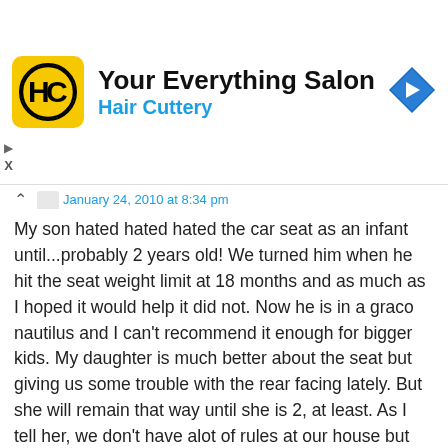[Figure (logo): Hair Cuttery ad banner with yellow logo, title 'Your Everything Salon', subtitle 'Hair Cuttery', and a blue navigation arrow icon]
January 24, 2010 at 8:34 pm
My son hated hated hated the car seat as an infant until...probably 2 years old! We turned him when he hit the seat weight limit at 18 months and as much as I hoped it would help it did not. Now he is in a graco nautilus and I can't recommend it enough for bigger kids. My daughter is much better about the seat but giving us some trouble with the rear facing lately. But she will remain that way until she is 2, at least. As I tell her, we don't have alot of rules at our house but we do follow safety rules and you aren't going to win this one!